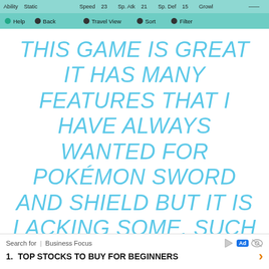Ability Static  Speed 23  Sp. Atk 21  Sp. Def 15  Growl  |  Help  Back  Travel View  Sort  Filter
THIS GAME IS GREAT IT HAS MANY FEATURES THAT I HAVE ALWAYS WANTED FOR POKÉMON SWORD AND SHIELD BUT IT IS LACKING SOME, SUCH AS THE FEATURE ON THE GTS WHERE THERE IS A SETTING WHERE IT FILTERS THE POKÉMON YOU ARE SEARCHING FOR FOUR PEOPLE ASKING FOR POKÉMON THAT YOU HAVE. THIS IS AN EXCELLENT FEATURE AND I AM SURPRISED IT IS NOT ADDED IN POKÉMON HOME. ALSO IT WOULD BE
Search for | Business Focus  [Ad]  1. TOP STOCKS TO BUY FOR BEGINNERS